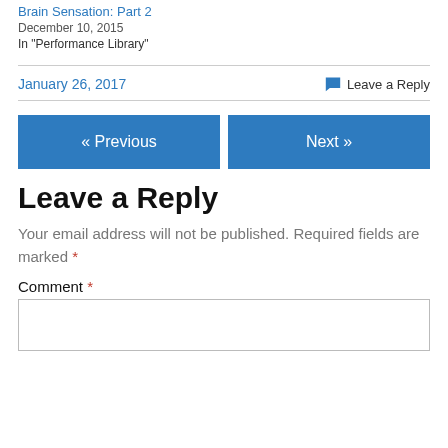Brain Sensation: Part 2
December 10, 2015
In "Performance Library"
January 26, 2017
Leave a Reply
« Previous
Next »
Leave a Reply
Your email address will not be published. Required fields are marked *
Comment *